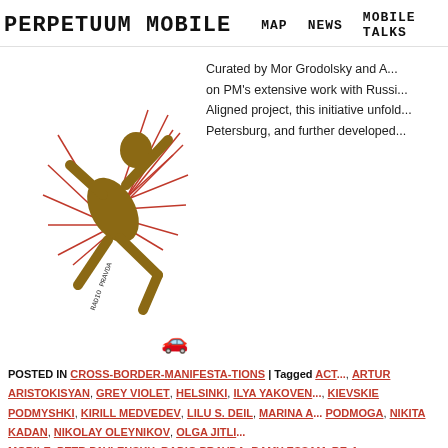PERPETUUM MOBILE   MAP   NEWS   MOBILE TALKS
[Figure (illustration): A dynamic figure of a person leaping with red spiky radiating lines, text RADIO PRAVDA visible, and a small car icon below]
Curated by Mor Grodolsky and A... on PM's extensive work with Russi... Aligned project, this initiative unfold... Petersburg, and further developed...
POSTED IN CROSS-BORDER-MANIFESTA-TIONS | TAGGED ACT... ARTUR ARISTOKISYAN, GREY VIOLET, HELSINKI, ILYA YAKOVEN... KIEVSKIE PODMYSHKI, KIRILL MEDVEDEV, LILU S. DEIL, MARINA A... PODMOGA, NIKITA KADAN, NIKOLAY OLEYNIKOV, OLGA JITLI... MOBILE, PETR PAVLENSKY, RADIO PRAVDA, RAMY ESSAM, RE-A... TECHNOPOESIA, TO THE SQUARE 2
← OLDER POSTS